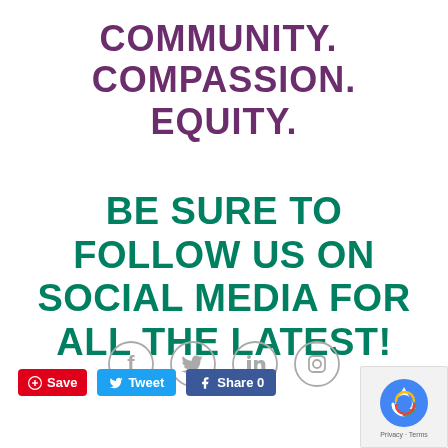COMMUNITY.  COMPASSION.  EQUITY.
BE SURE TO FOLLOW US ON SOCIAL MEDIA FOR ALL THE LATEST!
[Figure (infographic): Four social media icons in circles (Facebook, Twitter, LinkedIn, Instagram) in gray outline style]
[Figure (infographic): Social sharing buttons: Save (Pinterest, red), Tweet (Twitter, blue), Share 0 (Facebook, dark blue)]
[Figure (other): reCAPTCHA badge in bottom right corner with Google logo and Privacy/Terms links]